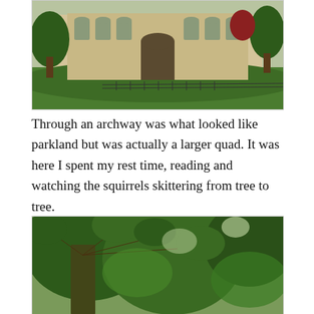[Figure (photo): An Oxford college building with Gothic architecture, green lawn in the foreground, and trees flanking the facade.]
Through an archway was what looked like parkland but was actually a larger quad. It was here I spent my rest time, reading and watching the squirrels skittering from tree to tree.
[Figure (photo): A large tree with dense canopy and ivy-covered trunk, photographed looking upward through the green foliage with light coming through.]